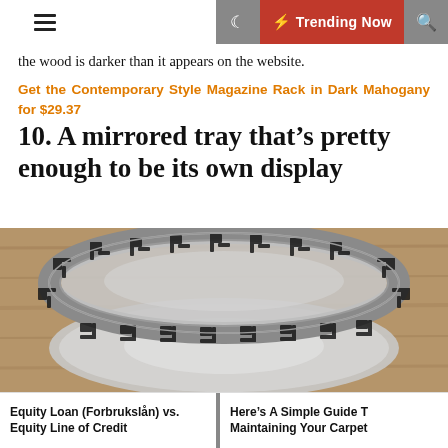☰ ☾ ⚡ Trending Now 🔍
the wood is darker than it appears on the website.
Get the Contemporary Style Magazine Rack in Dark Mahogany for $29.37
10. A mirrored tray that's pretty enough to be its own display
[Figure (photo): A round mirrored tray with decorative Greek key pattern metallic border, photographed on a wooden surface.]
Equity Loan (Forbrukslån) vs. Equity Line of Credit | Here's A Simple Guide To Maintaining Your Carpet